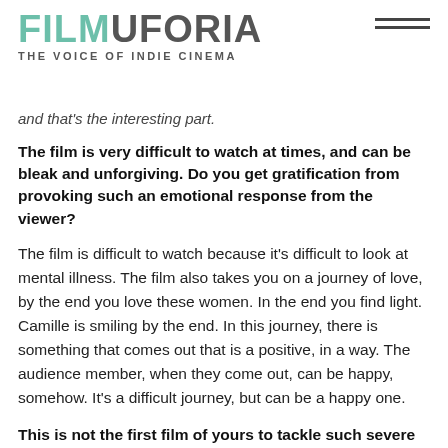FILMUFORIA — THE VOICE OF INDIE CINEMA
and that's the interesting part.
The film is very difficult to watch at times, and can be bleak and unforgiving. Do you get gratification from provoking such an emotional response from the viewer?
The film is difficult to watch because it's difficult to look at mental illness. The film also takes you on a journey of love, by the end you love these women. In the end you find light. Camille is smiling by the end. In this journey, there is something that comes out that is a positive, in a way. The audience member, when they come out, can be happy, somehow. It's a difficult journey, but can be a happy one.
This is not the first film of yours to tackle such severe themes – what attracts you to explore the darker, more dramatic side of life as a filmmaker?
In human beings there is lightness, darkness, happiness... I'm